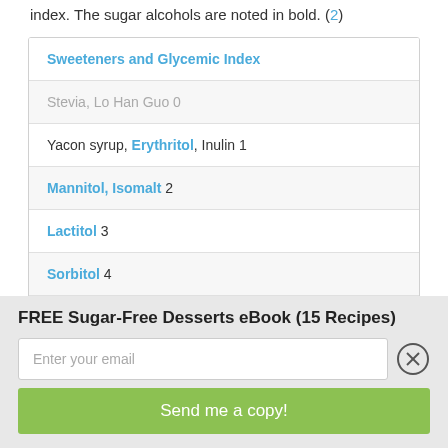index. The sugar alcohols are noted in bold. (2)
| Sweeteners and Glycemic Index |
| --- |
| Stevia, Lo Han Guo 0 |
| Yacon syrup, Erythritol, Inulin 1 |
| Mannitol, Isomalt 2 |
| Lactitol 3 |
| Sorbitol 4 |
| Glycerol (glycerin) 5 |
FREE Sugar-Free Desserts eBook (15 Recipes)
Enter your email
Send me a copy!